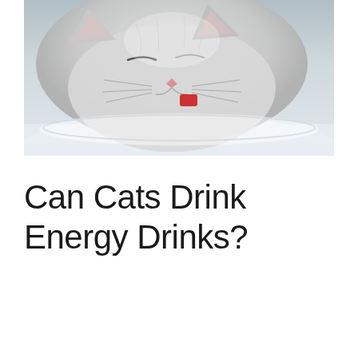[Figure (photo): Close-up photo of a white/grey cat drinking or licking from a white bowl or dish, with a red object visible near its mouth. The background is light blue-grey/white.]
Can Cats Drink Energy Drinks?